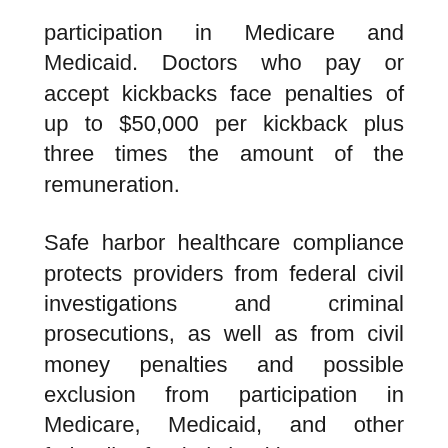participation in Medicare and Medicaid. Doctors who pay or accept kickbacks face penalties of up to $50,000 per kickback plus three times the amount of the remuneration.
Safe harbor healthcare compliance protects providers from federal civil investigations and criminal prosecutions, as well as from civil money penalties and possible exclusion from participation in Medicare, Medicaid, and other federally funded health programs. While a failure to comply with all elements and criteria of an applicable safe harbor does not automatically render the arrangement illegal, deviations or departures from the terms of a safe harbor allows prosecutors